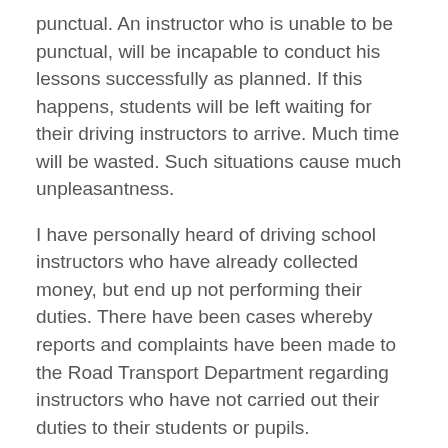punctual. An instructor who is unable to be punctual, will be incapable to conduct his lessons successfully as planned. If this happens, students will be left waiting for their driving instructors to arrive. Much time will be wasted. Such situations cause much unpleasantness.
I have personally heard of driving school instructors who have already collected money, but end up not performing their duties. There have been cases whereby reports and complaints have been made to the Road Transport Department regarding instructors who have not carried out their duties to their students or pupils.
3. Be capable of doing an honest job.
An instructor should always attempt to do an honest job. Students should be taught diligently by an instructor. Unfortunately, most instructors